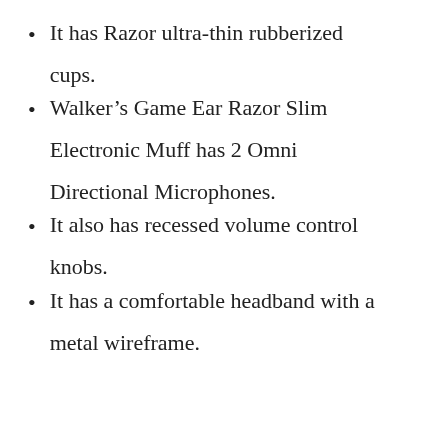It has Razor ultra-thin rubberized cups.
Walker’s Game Ear Razor Slim Electronic Muff has 2 Omni Directional Microphones.
It also has recessed volume control knobs.
It has a comfortable headband with a metal wireframe.